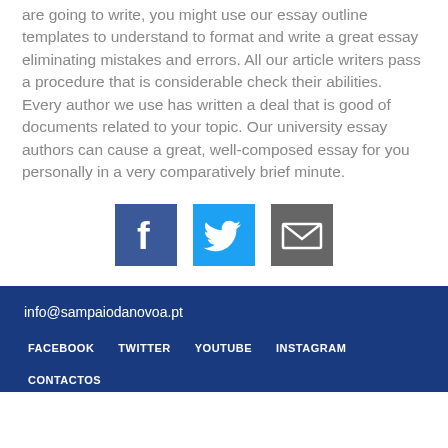are going to write, you might use our essay outline templates to understand to format and write a great essay eliminating mistakes and errors. All our article writers pass a procedure that is considerable check their abilities. Every author we use has written a deal that is good of documents related to your topic. Our university essay authors can cause a great, well-composed essay for you personally in a very comparatively brief minute.
[Figure (infographic): Three social media share buttons: Facebook (blue square with white 'f' logo), Twitter (light blue square with white bird logo), Email/envelope (dark gray square with white envelope icon)]
info@sampaiodanovoa.pt
FACEBOOK
TWITTER
YOUTUBE
INSTAGRAM
CONTACTOS